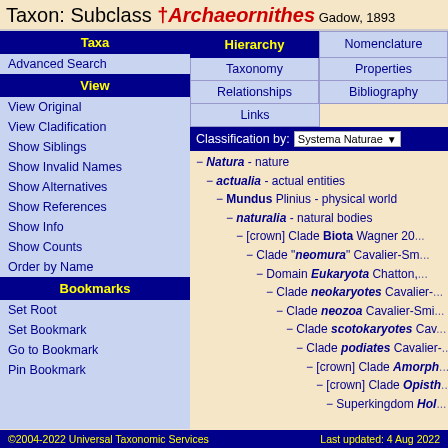Taxon: Subclass †Archaeornithes Gadow, 1893
| Taxa | Hierarchy | Nomenclature |
| --- | --- | --- |
| Advanced Search | Taxonomy | Properties |
| View | Relationships | Bibliography |
| View Original | Links |  |
| View Cladification |  |  |
| Show Siblings |  |  |
| Show Invalid Names |  |  |
| Show Alternatives |  |  |
| Show References |  |  |
| Show Info |  |  |
| Show Counts |  |  |
| Order by Name |  |  |
| Bookmarks |  |  |
| Set Root |  |  |
| Set Bookmark |  |  |
| Go to Bookmark |  |  |
| Pin Bookmark |  |  |
Classification by: Systema Naturae
− Natura - nature
− actualia - actual entities
− Mundus Plinius - physical world
− naturalia - natural bodies
− [crown] Clade Biota Wagner 20...
− Clade "neomura" Cavalier-Sm...
− Domain Eukaryota Chatton,...
− Clade neokaryotes Cavalier-...
− Clade neozoa Cavalier-Smi...
− Clade scotokaryotes Cav...
− Clade podiates Cavalier-...
− [crown] Clade Amorph...
− [crown] Clade Opisth...
− Superkingdom Hol...
©2004-2022 Universal Taxonomic Services    Last updated: 4 Aug 2022